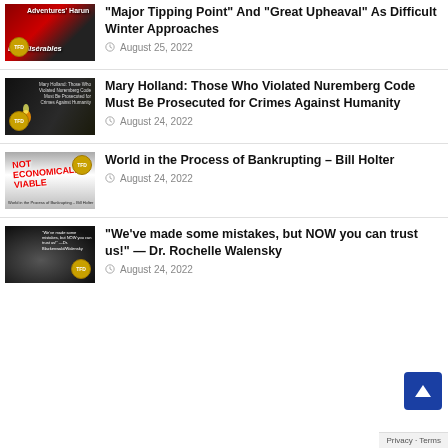[Figure (illustration): Les Miserables movie thumbnail with red background and TFD badge]
"Major Tipping Point" And "Great Upheaval" As Difficult Winter Approaches
August 25, 2022
[Figure (illustration): Nuremberg Code article thumbnail with dark background and candle flame]
Mary Holland: Those Who Violated Nuremberg Code Must Be Prosecuted for Crimes Against Humanity
August 24, 2022
[Figure (illustration): World bankrupting thumbnail with NOT ECONOMICALLY VIABLE graffiti text]
World in the Process of Bankrupting – Bill Holter
August 24, 2022
[Figure (photo): Dr. Rochelle Walensky photo with quote overlay]
“We’ve made some mistakes, but NOW you can trust us!” — Dr. Rochelle Walensky
August 24, 2022